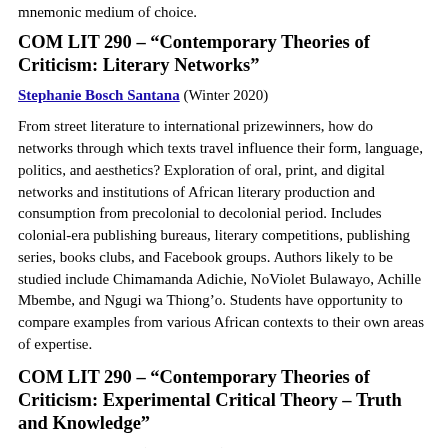mnemonic medium of choice.
COM LIT 290 – “Contemporary Theories of Criticism: Literary Networks”
Stephanie Bosch Santana (Winter 2020)
From street literature to international prizewinners, how do networks through which texts travel influence their form, language, politics, and aesthetics? Exploration of oral, print, and digital networks and institutions of African literary production and consumption from precolonial to decolonial period. Includes colonial-era publishing bureaus, literary competitions, publishing series, books clubs, and Facebook groups. Authors likely to be studied include Chimamanda Adichie, NoViolet Bulawayo, Achille Mbembe, and Ngugi wa Thiong’o. Students have opportunity to compare examples from various African contexts to their own areas of expertise.
COM LIT 290 – “Contemporary Theories of Criticism: Experimental Critical Theory – Truth and Knowledge”
Kenneth Reinhard (Winter 2020)